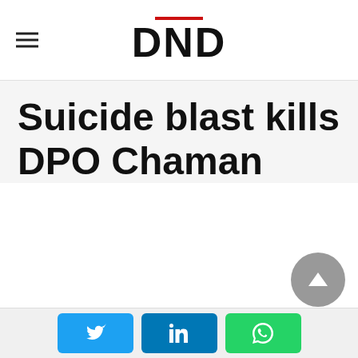DND
Suicide blast kills DPO Chaman